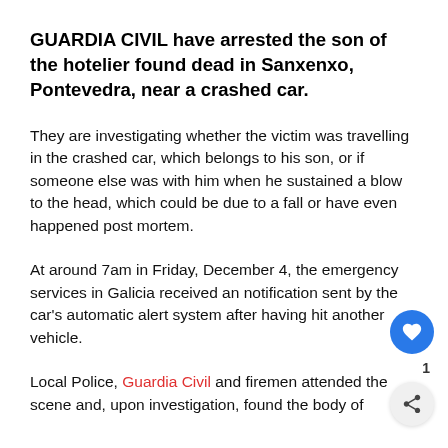GUARDIA CIVIL have arrested the son of the hotelier found dead in Sanxenxo, Pontevedra, near a crashed car.
They are investigating whether the victim was travelling in the crashed car, which belongs to his son, or if someone else was with him when he sustained a blow to the head, which could be due to a fall or have even happened post mortem.
At around 7am in Friday, December 4, the emergency services in Galicia received an notification sent by the car's automatic alert system after having hit another vehicle.
Local Police, Guardia Civil and firemen attended the scene and, upon investigation, found the body of...